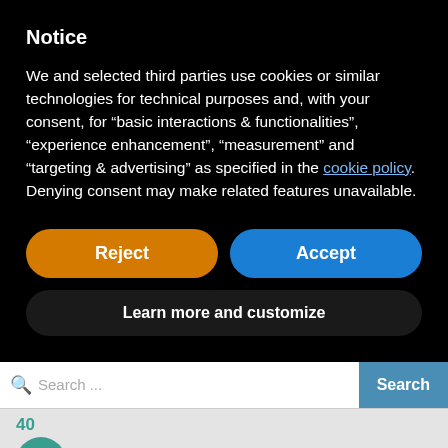Notice
We and selected third parties use cookies or similar technologies for technical purposes and, with your consent, for “basic interactions & functionalities”, “experience enhancement”, “measurement” and “targeting & advertising” as specified in the cookie policy. Denying consent may make related features unavailable.
[Figure (screenshot): Reject button (orange, rounded) and Accept button (blue, rounded) side by side]
[Figure (screenshot): Learn more and customize button (dark, rounded)]
[Figure (screenshot): Search bar with search icon, placeholder text 'Search ...' and blue Search button]
40
[Figure (screenshot): Teal circular chat icon button]
ouncements